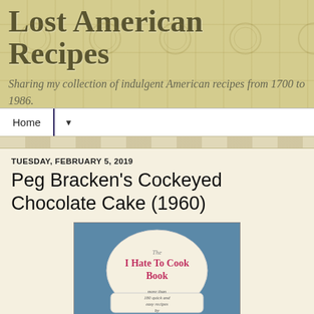Lost American Recipes
Sharing my collection of indulgent American recipes from 1700 to 1986.
Home
TUESDAY, FEBRUARY 5, 2019
Peg Bracken's Cockeyed Chocolate Cake (1960)
[Figure (illustration): Cover of The I Hate To Cook Book by Peg Bracken, showing a cartoon chef wearing a large hat, with text 'more than 180 quick and easy recipes by Peg Bracken']